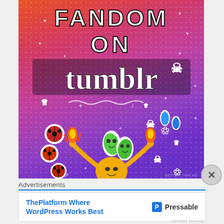[Figure (illustration): Tumblr 'Fandom on Tumblr' promotional advertisement image with colorful gradient background (orange to purple), dot pattern overlay, white doodle illustrations of crowns, hearts, skulls, stars, flowers, arrows, cats, and sticker-style cartoon characters including a flame person, leaf creatures, blue drops, and ladybugs. Large bold white text reads 'FANDOM ON tumblr'.]
Advertisements
[Figure (illustration): ThePlatform Where WordPress Works Best — Pressable advertisement banner with blue bold text on white background and Pressable logo on the right.]